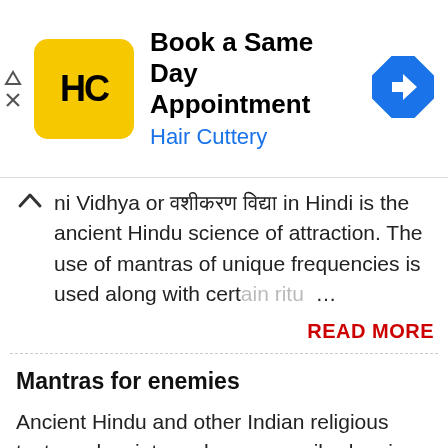[Figure (screenshot): Advertisement banner for Hair Cuttery: yellow square logo with HC letters, text 'Book a Same Day Appointment' and 'Hair Cuttery' in blue, blue diamond navigation icon on right, play and close icons on left edge]
ni Vidhya or [Hindi text] in Hindi is the ancient Hindu science of attraction. The use of mantras of unique frequencies is used along with certain ritu...
READ MORE
Mantras for enemies
Ancient Hindu and other Indian religious texts and scriptures have prescribed various mantras to rid oneself of enemy troubles. There are numerous...
READ MORE